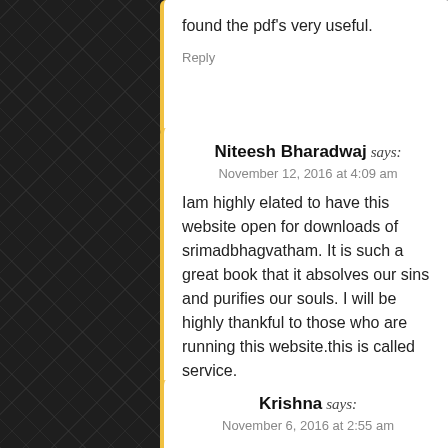found the pdf's very useful.
Reply
Niteesh Bharadwaj says:
November 12, 2016 at 4:09 am
Iam highly elated to have this website open for downloads of srimadbhagvatham. It is such a great book that it absolves our sins and purifies our souls. I will be highly thankful to those who are running this website.this is called service.
Reply
Krishna says:
November 6, 2016 at 2:55 am
Hallo,